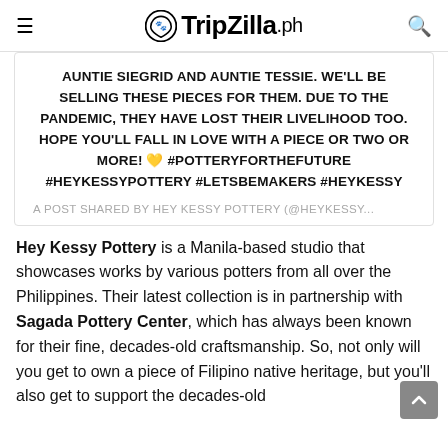TripZilla.ph
AUNTIE SIEGRID AND AUNTIE TESSIE. WE'LL BE SELLING THESE PIECES FOR THEM. DUE TO THE PANDEMIC, THEY HAVE LOST THEIR LIVELIHOOD TOO. HOPE YOU'LL FALL IN LOVE WITH A PIECE OR TWO OR MORE! 💛 #POTTERYFORTHEFUTURE #HEYKESSYPOTTERY #LETSBEMAKERS #HEYKESSY
A POST SHARED BY HEY KESSY POTTERY (@HEYKESSY...
Hey Kessy Pottery is a Manila-based studio that showcases works by various potters from all over the Philippines. Their latest collection is in partnership with Sagada Pottery Center, which has always been known for their fine, decades-old craftsmanship. So, not only will you get to own a piece of Filipino native heritage, but you'll also get to support the decades-old